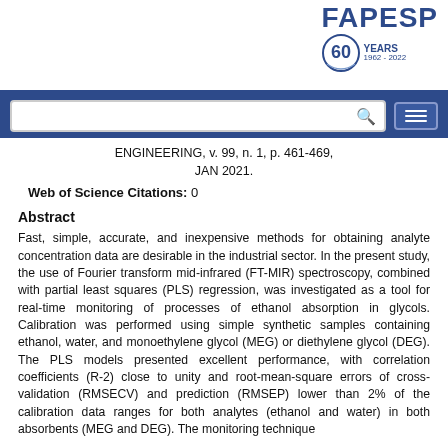[Figure (logo): FAPESP 60 Years logo (1962-2022) in blue, top right corner]
[Figure (screenshot): Search bar with magnifying glass icon and hamburger menu button on blue background]
ENGINEERING, v. 99, n. 1, p. 461-469, JAN 2021.
Web of Science Citations: 0
Abstract
Fast, simple, accurate, and inexpensive methods for obtaining analyte concentration data are desirable in the industrial sector. In the present study, the use of Fourier transform mid-infrared (FT-MIR) spectroscopy, combined with partial least squares (PLS) regression, was investigated as a tool for real-time monitoring of processes of ethanol absorption in glycols. Calibration was performed using simple synthetic samples containing ethanol, water, and monoethylene glycol (MEG) or diethylene glycol (DEG). The PLS models presented excellent performance, with correlation coefficients (R-2) close to unity and root-mean-square errors of cross-validation (RMSECV) and prediction (RMSEP) lower than 2% of the calibration data ranges for both analytes (ethanol and water) in both absorbents (MEG and DEG). The monitoring technique